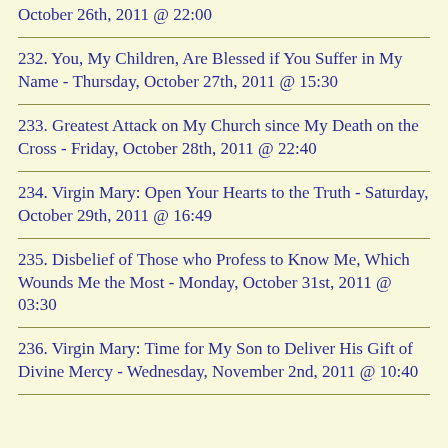October 26th, 2011 @ 22:00
232. You, My Children, Are Blessed if You Suffer in My Name - Thursday, October 27th, 2011 @ 15:30
233. Greatest Attack on My Church since My Death on the Cross - Friday, October 28th, 2011 @ 22:40
234. Virgin Mary: Open Your Hearts to the Truth - Saturday, October 29th, 2011 @ 16:49
235. Disbelief of Those who Profess to Know Me, Which Wounds Me the Most - Monday, October 31st, 2011 @ 03:30
236. Virgin Mary: Time for My Son to Deliver His Gift of Divine Mercy - Wednesday, November 2nd, 2011 @ 10:40